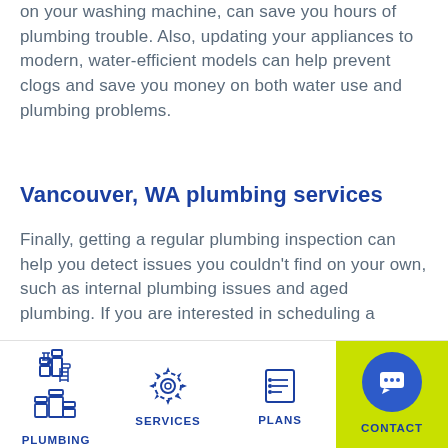on your washing machine, can save you hours of plumbing trouble. Also, updating your appliances to modern, water-efficient models can help prevent clogs and save you money on both water use and plumbing problems.
Vancouver, WA plumbing services
Finally, getting a regular plumbing inspection can help you detect issues you couldn't find on your own, such as internal plumbing issues and aged plumbing. If you are interested in scheduling a
[Figure (infographic): Bottom navigation bar with four items: PLUMBING (pipe icon), SERVICES (gear icon), PLANS (list icon), CONTACT (message bubble icon on lime green background with blue circle)]